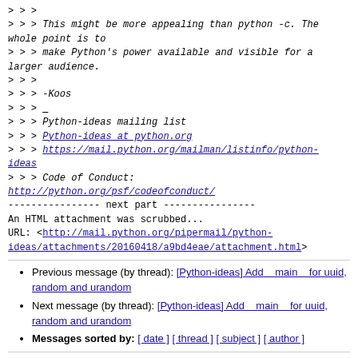> > >
> > > This might be more appealing than python -c. The whole point is to
> > > make Python's power available and visible for a larger audience.
> > >
> > > -Koos
> > > ___
> > > Python-ideas mailing list
> > > Python-ideas at python.org
> > > https://mail.python.org/mailman/listinfo/python-ideas
> > > Code of Conduct: http://python.org/psf/codeofconduct/
---------------- next part ----------------
An HTML attachment was scrubbed...
URL: <http://mail.python.org/pipermail/python-ideas/attachments/20160418/a9bd4eae/attachment.html>
Previous message (by thread): [Python-ideas] Add    main    for uuid, random and urandom
Next message (by thread): [Python-ideas] Add    main    for uuid, random and urandom
Messages sorted by: [ date ] [ thread ] [ subject ] [ author ]
More information about the Python-ideas mailing list